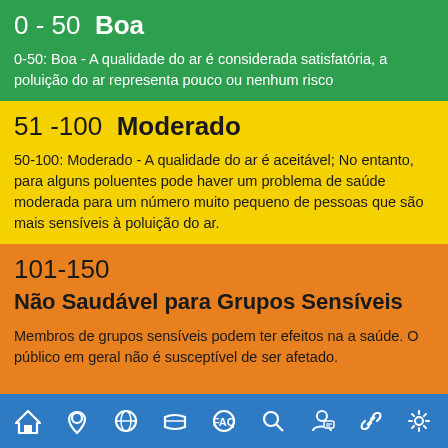0 - 50 Boa
0-50: Boa - A qualidade do ar é considerada satisfatória, a poluição do ar representa pouco ou nenhum risco
51 -100 Moderado
50-100: Moderado - A qualidade do ar é aceitável; No entanto, para alguns poluentes pode haver um problema de saúde moderada para um número muito pequeno de pessoas que são mais sensíveis à poluição do ar.
101-150
Não Saudável para Grupos Sensíveis
Membros de grupos sensíveis podem ter efeitos na a saúde. O público em geral não é susceptível de ser afetado.
[navigation bar icons]